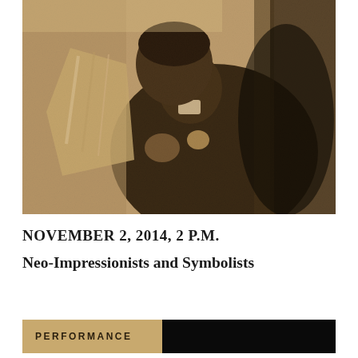[Figure (photo): Sepia-toned pointillist-style artwork showing a man in a dark coat reading or holding papers, facing left in profile, rendered in a Neo-Impressionist stippling technique.]
NOVEMBER 2, 2014, 2 P.M.
Neo-Impressionists and Symbolists
PERFORMANCE